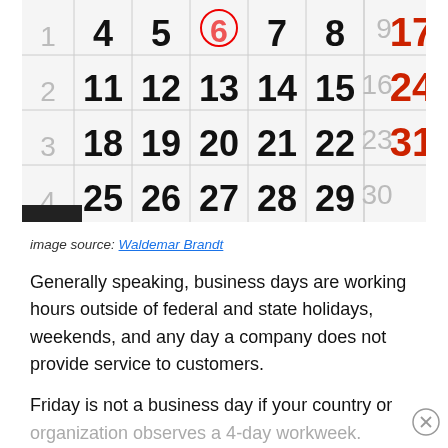[Figure (photo): A wall calendar showing dates including numbers 1-31, with weekends (17, 24, 31) shown in red and week numbers on the left side, partially cropped at top]
image source: Waldemar Brandt
Generally speaking, business days are working hours outside of federal and state holidays, weekends, and any day a company does not provide service to customers.
Friday is not a business day if your country or organization observes a 4-day workweek.